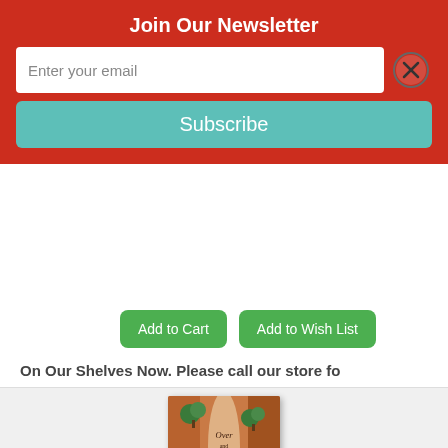Join Our Newsletter
Enter your email
Subscribe
Add to Cart
Add to Wish List
On Our Shelves Now. Please call our store fo
[Figure (illustration): Book cover of 'Over and Under the Canyon' showing a canyon landscape with orange rock walls, trees, and two small figures walking in a narrow canyon slot.]
Over and Under the Canyon (Hardcover)
By Kate Messner, Christopher Silas Neal (Illu